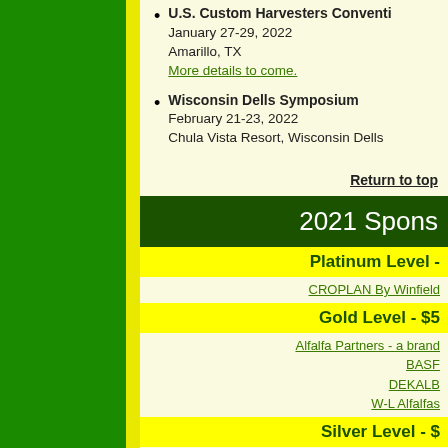U.S. Custom Harvesters Convention
January 27-29, 2022
Amarillo, TX
More details to come.
Wisconsin Dells Symposium
February 21-23, 2022
Chula Vista Resort, Wisconsin Dells
Return to top
2021 Sponsors
Platinum Level -
CROPLAN By Winfield
Gold Level - $5
Alfalfa Partners - a brand
BASF
DEKALB
W-L Alfalfas
Silver Level - $
Alforex Seeds
Dairyland Laboratories
Dairyland Seed C